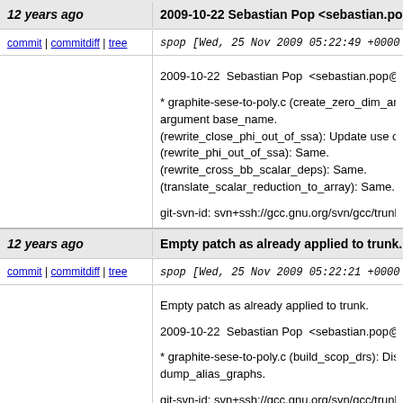12 years ago
2009-10-22 Sebastian Pop <sebastian.pop@amd...
commit | commitdiff | tree
spop [Wed, 25 Nov 2009 05:22:49 +0000 (0...
2009-10-22  Sebastian Pop  <sebastian.pop@amd...
* graphite-sese-to-poly.c (create_zero_dim_array): argument base_name. (rewrite_close_phi_out_of_ssa): Update use of cre... (rewrite_phi_out_of_ssa): Same. (rewrite_cross_bb_scalar_deps): Same. (translate_scalar_reduction_to_array): Same.
git-svn-id: svn+ssh://gcc.gnu.org/svn/gcc/trunk@1...
12 years ago
Empty patch as already applied to trunk.
commit | commitdiff | tree
spop [Wed, 25 Nov 2009 05:22:21 +0000 (0...
Empty patch as already applied to trunk.
2009-10-22  Sebastian Pop  <sebastian.pop@amd...
* graphite-sese-to-poly.c (build_scop_drs): Disable... dump_alias_graphs.
git-svn-id: svn+ssh://gcc.gnu.org/svn/gcc/trunk@1...